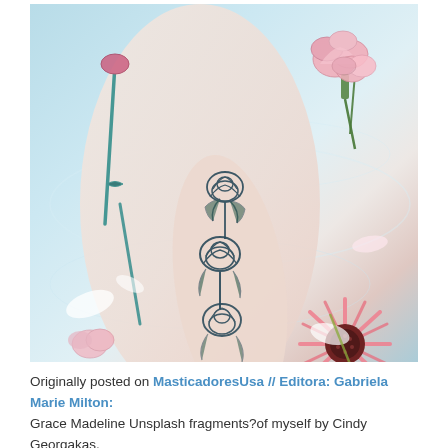[Figure (photo): A person lying in a milk bath with pink and white flowers (carnations, gerbera daisy) floating around them. The person's arm is visible showing a detailed rose tattoo with dark ink outlines. The background is a pale blue-white milky water surface.]
Originally posted on MasticadoresUsa // Editora: Gabriela Marie Milton: Grace Madeline Unsplash fragments?of myself by Cindy Georgakas,